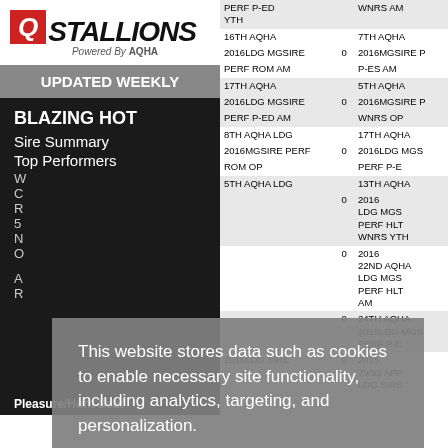[Figure (logo): QStallions logo - red box with Q and STALLIONS text, Powered By AQHA subtitle]
UPDATED WEEKLY
BLAZING HOT
Sire Summary
Top Performers
| Col1 | Col2 | Col3 |
| --- | --- | --- |
| PERF P-ED YTH |  | WNRS AM |
| 16TH AQHA |  | 7TH AQHA |
| 2016LDG MGSIRE | 0 | 2016MGSIRE P |
| PERF ROM AM |  | P-ES AM |
| 17TH AQHA |  | 5TH AQHA |
| 2016LDG MGSIRE | 0 | 2016MGSIRE P |
| PERF P-ED AM |  | WNRS OP |
| 8TH AQHA LDG |  | 17TH AQHA |
| 2016MGSIRE PERF | 0 | 2016LDG MGS |
| ROM OP |  | PERF P-E |
| 5TH AQHA LDG |  | 13TH AQHA |
|  | 0 | 2016 LDG MGS PERF HLT WNRS YTH |
|  | 0 | 2016 22ND AQHA LDG MGS PERF HLT AM |
|  | 0 | 2016 24TH AQHA LDG MGS PERF P-E |
| 2015LDG SIRE | 0 | 2015 79/92 APP LDG SIRB |
Pleasure/Hunt Seat
This website stores data such as cookies to enable necessary site functionality, including analytics, targeting, and personalization.
Data Storage Policy
Accept
Deny